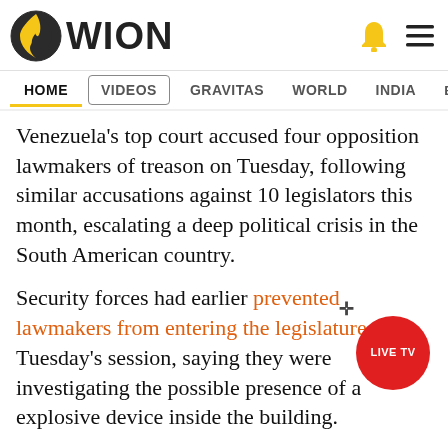[Figure (logo): WION news logo with globe icon]
HOME  VIDEOS  GRAVITAS  WORLD  INDIA  ENTERTAINMENT  SPORTS
Venezuela's top court accused four opposition lawmakers of treason on Tuesday, following similar accusations against 10 legislators this month, escalating a deep political crisis in the South American country.
Security forces had earlier prevented lawmakers from entering the legislature for Tuesday's session, saying they were investigating the possible presence of a explosive device inside the building.
The Supreme Court in a statement posted on its